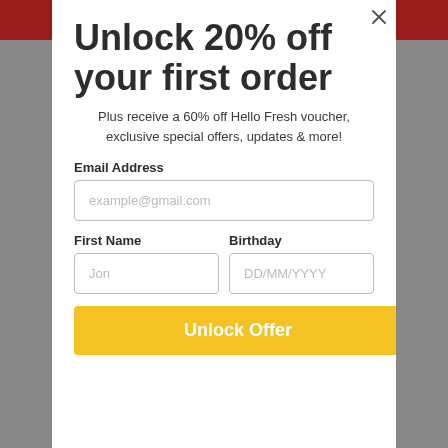Unlock 20% off your first order
Plus receive a 60% off Hello Fresh voucher, exclusive special offers, updates & more!
Email Address
example@gmail.com
First Name
Jon
Birthday
DD/MM/YYYY
Unlock Offer